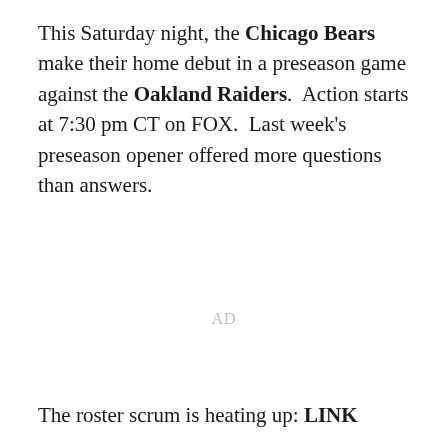This Saturday night, the Chicago Bears make their home debut in a preseason game against the Oakland Raiders.  Action starts at 7:30 pm CT on FOX.  Last week's preseason opener offered more questions than answers.
AD
The roster scrum is heating up: LINK